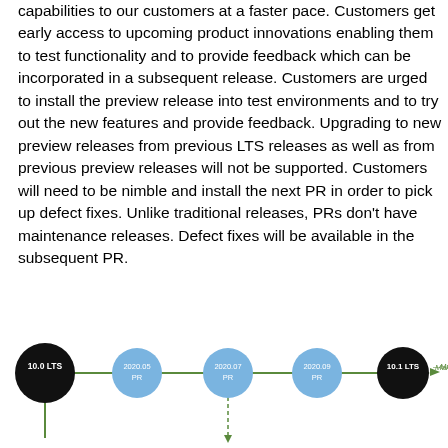capabilities to our customers at a faster pace. Customers get early access to upcoming product innovations enabling them to test functionality and to provide feedback which can be incorporated in a subsequent release. Customers are urged to install the preview release into test environments and to try out the new features and provide feedback. Upgrading to new preview releases from previous LTS releases as well as from previous preview releases will not be supported. Customers will need to be nimble and install the next PR in order to pick up defect fixes. Unlike traditional releases, PRs don't have maintenance releases. Defect fixes will be available in the subsequent PR.
[Figure (flowchart): A horizontal timeline/flowchart showing release progression: 10.0 LTS (black circle) -> 2020.05 PR (blue circle) -> 2020.07 PR (blue circle, with a dashed vertical line going down) -> 2020.09 PR (blue circle) -> 10.1 LTS (black circle) -> Main Line (arrow with label)]